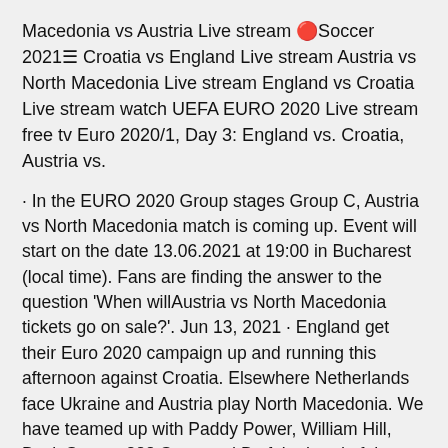Macedonia vs Austria Live stream 🔴Soccer 2021☰ Croatia vs England Live stream Austria vs North Macedonia Live stream England vs Croatia Live stream watch UEFA EURO 2020 Live stream free tv Euro 2020/1, Day 3: England vs. Croatia, Austria vs.
· In the EURO 2020 Group stages Group C, Austria vs North Macedonia match is coming up. Event will start on the date 13.06.2021 at 19:00 in Bucharest (local time). Fans are finding the answer to the question 'When willAustria vs North Macedonia tickets go on sale?'. Jun 13, 2021 · England get their Euro 2020 campaign up and running this afternoon against Croatia. Elsewhere Netherlands face Ukraine and Austria play North Macedonia. We have teamed up with Paddy Power, William Hill, BoyleSports, 888 Sport and Betfair ahead of the final.